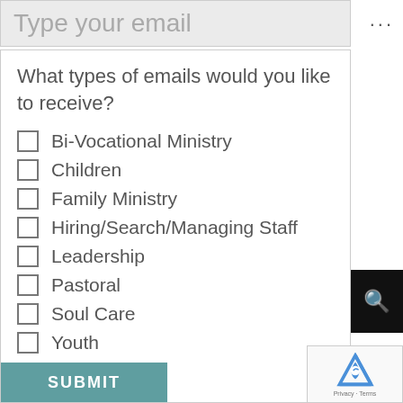Type your email
What types of emails would you like to receive?
Bi-Vocational Ministry
Children
Family Ministry
Hiring/Search/Managing Staff
Leadership
Pastoral
Soul Care
Youth
SUBMIT